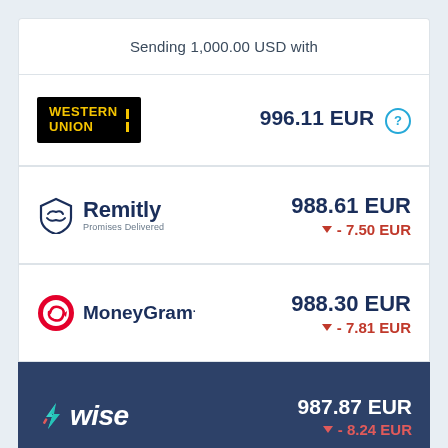Sending 1,000.00 USD with
| Provider | Amount |
| --- | --- |
| Western Union | 996.11 EUR |
| Remitly | 988.61 EUR ▼ - 7.50 EUR |
| MoneyGram | 988.30 EUR ▼ - 7.81 EUR |
| Wise | 987.87 EUR ▼ - 8.24 EUR |